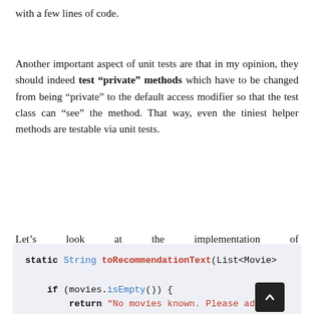with a few lines of code.
Another important aspect of unit tests are that in my opinion, they should indeed test "private" methods which have to be changed from being "private" to the default access modifier so that the test class can "see" the method. That way, even the tiniest helper methods are testable via unit tests.
Let's look at the implementation of MovieService.toRecommendationText.
[Figure (screenshot): Java code block showing: static String toRecommendationText(List<Movie> ... if (movies.isEmpty()) { return "No movies known. Please add som...]